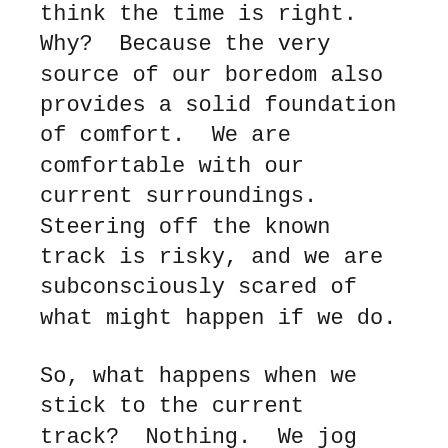think the time is right.  Why?  Because the very source of our boredom also provides a solid foundation of comfort.  We are comfortable with our current surroundings.  Steering off the known track is risky, and we are subconsciously scared of what might happen if we do.
So, what happens when we stick to the current track?  Nothing.  We jog along the same circular track at a steady pace daily.  We pass by the same mile marker at the exact moment we did yesterday, and the day before, and the week before that.  There is not a worry on our minds because we already know the terrain that lies ahead.